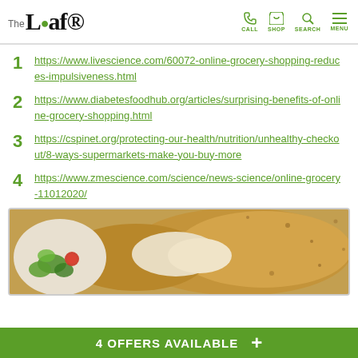The Leaf — CALL SHOP SEARCH MENU
1 https://www.livescience.com/60072-online-grocery-shopping-reduces-impulsiveness.html
2 https://www.diabetesfoodhub.org/articles/surprising-benefits-of-online-grocery-shopping.html
3 https://cspinet.org/protecting-our-health/nutrition/unhealthy-checkout/8-ways-supermarkets-make-you-buy-more
4 https://www.zmescience.com/science/news-science/online-grocery-11012020/
[Figure (photo): Close-up photo of breaded food (likely a chicken dish) with salad on a plate in background]
4 OFFERS AVAILABLE +